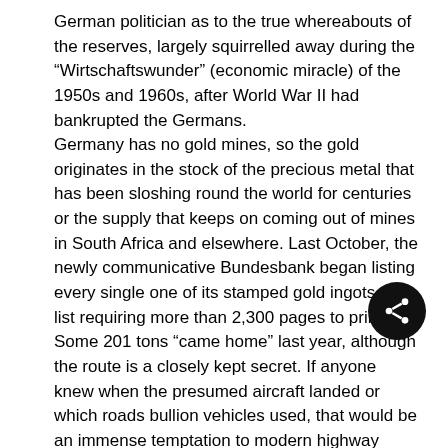German politician as to the true whereabouts of the reserves, largely squirrelled away during the “Wirtschaftswunder” (economic miracle) of the 1950s and 1960s, after World War II had bankrupted the Germans.
Germany has no gold mines, so the gold originates in the stock of the precious metal that has been sloshing round the world for centuries or the supply that keeps on coming out of mines in South Africa and elsewhere. Last October, the newly communicative Bundesbank began listing every single one of its stamped gold ingots on a list requiring more than 2,300 pages to print.
Some 201 tons “came home” last year, although the route is a closely kept secret. If anyone knew when the presumed aircraft landed or which roads bullion vehicles used, that would be an immense temptation to modern highway robbers. Even the cost of the transport is confidential.
Currently holding some 1,403 tons, the Bundesbank vaults in Frankfurt contain the largest fraction of the German gold, ahead of the German reserves kept at the US Federal Reserve in New York, the Bank of England in London and the Banque de France in Paris. There are 112,112 bars or ingots in the Frankfurt vaults, and the Bundesbank shows no intention of selling any of them — by contrast